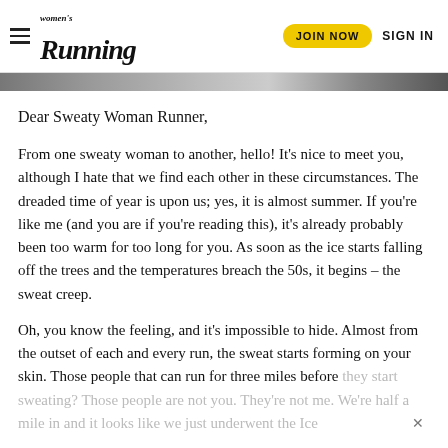women's Running | JOIN NOW | SIGN IN
[Figure (photo): Partial image strip visible at top of article content area]
Dear Sweaty Woman Runner,
From one sweaty woman to another, hello! It's nice to meet you, although I hate that we find each other in these circumstances. The dreaded time of year is upon us; yes, it is almost summer. If you're like me (and you are if you're reading this), it's already probably been too warm for too long for you. As soon as the ice starts falling off the trees and the temperatures breach the 50s, it begins – the sweat creep.
Oh, you know the feeling, and it's impossible to hide. Almost from the outset of each and every run, the sweat starts forming on your skin. Those people that can run for three miles before they start sweating? Those people are not you. They're not me. We're half a mile in and it looks like we just underwent the Ice